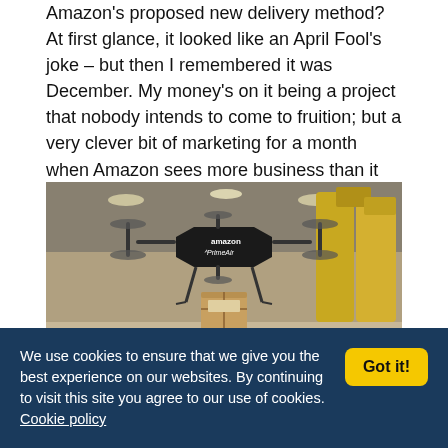Amazon's proposed new delivery method? At first glance, it looked like an April Fool's joke – but then I remembered it was December. My money's on it being a project that nobody intends to come to fruition; but a very clever bit of marketing for a month when Amazon sees more business than it does in any other month of the year.
[Figure (photo): Amazon Prime Air drone (octocopter/quadcopter) carrying a package, photographed indoors in a warehouse with yellow storage containers in the background. The drone has a black top with 'amazon PrimeAir' branding.]
We use cookies to ensure that we give you the best experience on our websites. By continuing to visit this site you agree to our use of cookies. Cookie policy